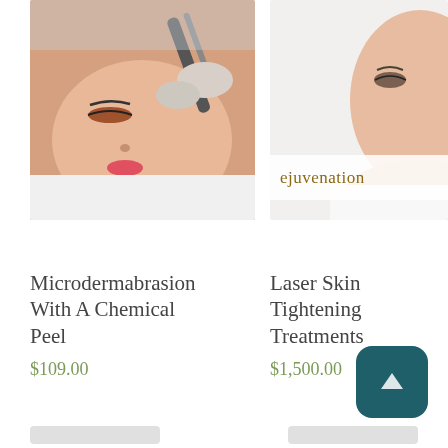[Figure (photo): Partial view of a gray button/placeholder on the upper left]
[Figure (photo): Partial 'Add to cart' button on the upper right]
[Figure (photo): Woman receiving microdermabrasion facial treatment with a device held by gloved hands]
[Figure (photo): Partial photo of a woman's face with 'rejuvenation' text visible on a light background, branded spa/clinic image]
Microdermabrasion With A Chemical Peel
Laser Skin Tightening Treatments
$109.00
$1,500.00